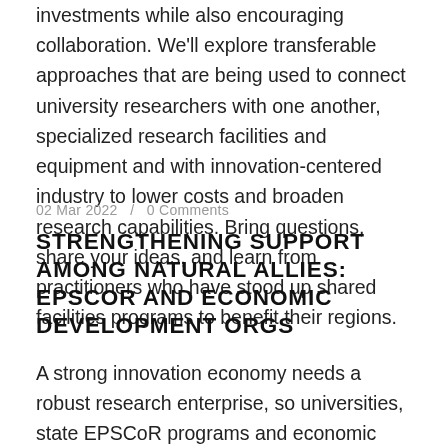investments while also encouraging collaboration. We'll explore transferable approaches that are being used to connect university researchers with one another, specialized research facilities and equipment and with innovation-centered industry to lower costs and broaden research capabilities. Bring questions, share your ideas, and learn from practitioners who have stood up shared facilities programs to benefit their regions.
02 Mar 2022  /  0 Comments
STRENGTHENING SUPPORT AMONG NATURAL ALLIES: EPSCOR AND ECONOMIC DEVELOPMENT ORGS
A strong innovation economy needs a robust research enterprise, so universities, state EPSCoR programs and economic development organizations focused on